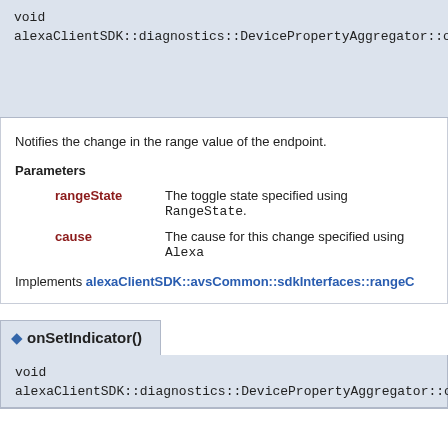void
alexaClientSDK::diagnostics::DevicePropertyAggregator::onRangeCh
Notifies the change in the range value of the endpoint.
Parameters
rangeState  The toggle state specified using RangeState.
cause  The cause for this change specified using Alexa
Implements alexaClientSDK::avsCommon::sdkInterfaces::rangeC
onSetIndicator()
void
alexaClientSDK::diagnostics::DevicePropertyAggregator::onSetIndica